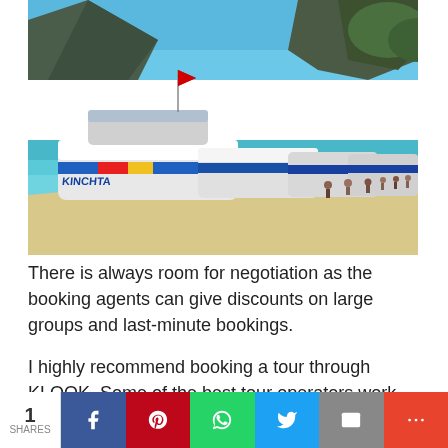[Figure (photo): Speedboats and speedboat taxis lined up on a tropical beach with turquoise water, a large karst limestone mountain in the background, and tourists walking along the shore. Boats have colorful markings including 'KINCHTA' branding.]
There is always room for negotiation as the booking agents can give discounts on large groups and last-minute bookings.
I highly recommend booking a tour through KLOOK. Some of the best tour operators work...
1 SHARES | Share on Facebook | Share on Pinterest | Share on WhatsApp | Share on Twitter | Share by Email | More